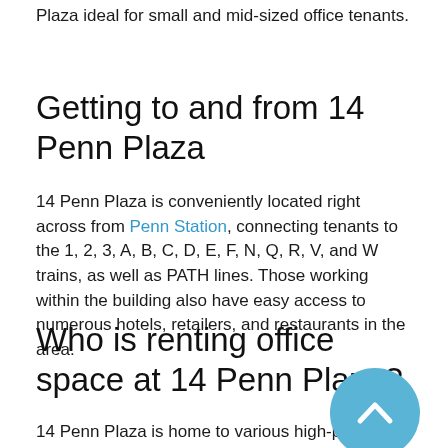Plaza ideal for small and mid-sized office tenants.
Getting to and from 14 Penn Plaza
14 Penn Plaza is conveniently located right across from Penn Station, connecting tenants to the 1, 2, 3, A, B, C, D, E, F, N, Q, R, V, and W trains, as well as PATH lines. Those working within the building also have easy access to numerous hotels, retailers, and restaurants in the area.
Who is renting office space at 14 Penn Plaza?
14 Penn Plaza is home to various high-profile office tenants, as well as retail tenants. Notable tenants